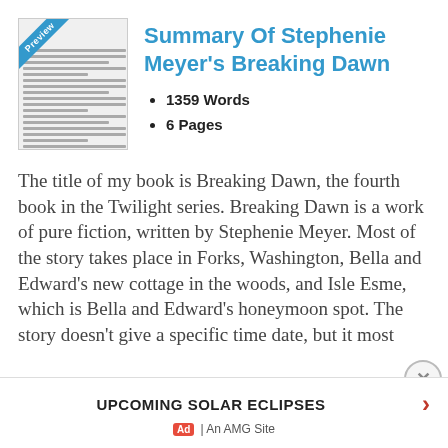[Figure (illustration): Preview thumbnail of a document page with a blue 'Preview' diagonal banner in the top-left corner]
Summary Of Stephenie Meyer's Breaking Dawn
1359 Words
6 Pages
The title of my book is Breaking Dawn, the fourth book in the Twilight series. Breaking Dawn is a work of pure fiction, written by Stephenie Meyer. Most of the story takes place in Forks, Washington, Bella and Edward's new cottage in the woods, and Isle Esme, which is Bella and Edward's honeymoon spot. The story doesn't give a specific time date, but it most
UPCOMING SOLAR ECLIPSES
Ad | An AMG Site